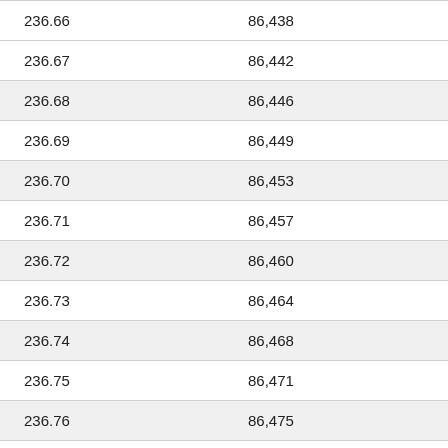| 236.66 | 86,438 |
| 236.67 | 86,442 |
| 236.68 | 86,446 |
| 236.69 | 86,449 |
| 236.70 | 86,453 |
| 236.71 | 86,457 |
| 236.72 | 86,460 |
| 236.73 | 86,464 |
| 236.74 | 86,468 |
| 236.75 | 86,471 |
| 236.76 | 86,475 |
| 236.77 | 86,478 |
| 236.78 | 86,482 |
| 236.79 | 86,486 |